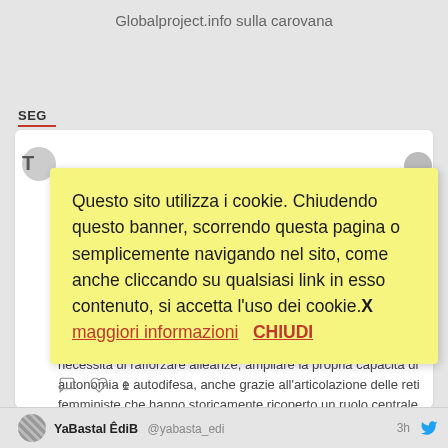Globalproject.info sulla carovana
SEG
necessità di rafforzare alleanze, ampliare la propria capacità di autonomia e autodifesa, anche grazie all'articolazione delle reti femministe che hanno storicamente ricoperto un ruolo centrale.
Questo sito utilizza i cookie. Chiudendo questo banner, scorrendo questa pagina o semplicemente navigando nel sito, come anche cliccando su qualsiasi link in esso contenuto, si accetta l'uso dei cookie.X  maggiori informazioni  CHIUDI
YaBastal ÊdiB @yabasta_edi 3h